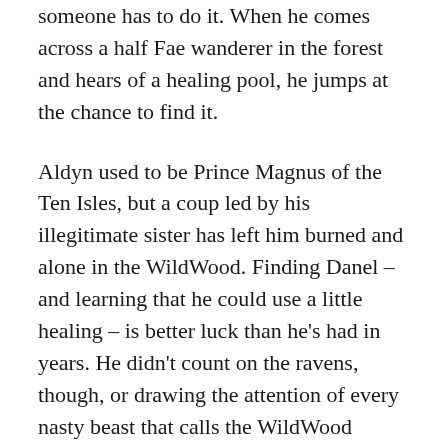someone has to do it. When he comes across a half Fae wanderer in the forest and hears of a healing pool, he jumps at the chance to find it.
Aldyn used to be Prince Magnus of the Ten Isles, but a coup led by his illegitimate sister has left him burned and alone in the WildWood. Finding Danel – and learning that he could use a little healing – is better luck than he's had in years. He didn't count on the ravens, though, or drawing the attention of every nasty beast that calls the WildWood home. What should have been a simple quest quickly turns into a fight against forces neither one of them could even imagine.
It's a race against time to find the pools and heal themselves...